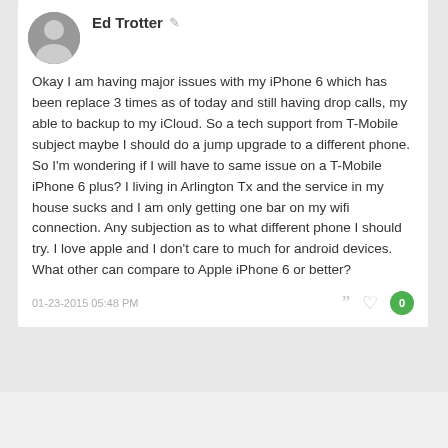Ed Trotter
Okay I am having major issues with my iPhone 6 which has been replace 3 times as of today and still having drop calls, my able to backup to my iCloud. So a tech support from T-Mobile subject maybe I should do a jump upgrade to a different phone. So I'm wondering if I will have to same issue on a T-Mobile iPhone 6 plus? I living in Arlington Tx and the service in my house sucks and I am only getting one bar on my wifi connection. Any subjection as to what different phone I should try. I love apple and I don't care to much for android devices. What other can compare to Apple iPhone 6 or better?
01-23-2015 05:48 PM